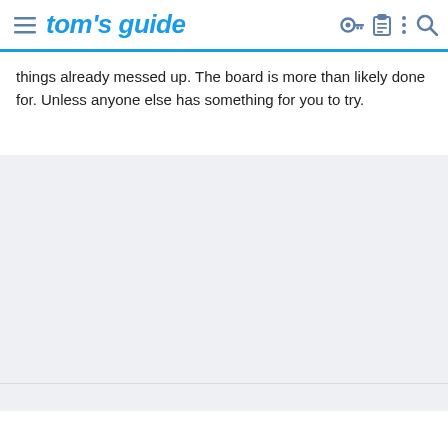tom's guide
things already messed up. The board is more than likely done for. Unless anyone else has something for you to try.
[Figure (other): Gray advertisement or content placeholder block]